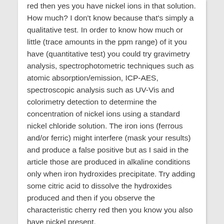red then yes you have nickel ions in that solution. How much? I don't know because that's simply a qualitative test. In order to know how much or little (trace amounts in the ppm range) of it you have (quantitative test) you could try gravimetry analysis, spectrophotometric techniques such as atomic absorption/emission, ICP-AES, spectroscopic analysis such as UV-Vis and colorimetry detection to determine the concentration of nickel ions using a standard nickel chloride solution. The iron ions (ferrous and/or ferric) might interfere (mask your results) and produce a false positive but as I said in the article those are produced in alkaline conditions only when iron hydroxides precipitate. Try adding some citric acid to dissolve the hydroxides produced and then if you observe the characteristic cherry red then you know you also have nickel present.